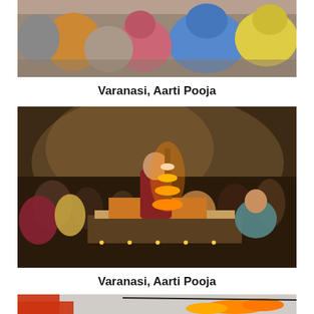[Figure (photo): Top portion of a photo showing women seated in colorful saris (blue, yellow, pink) at what appears to be an outdoor religious gathering, Varanasi Aarti Pooja ceremony]
Varanasi, Aarti Pooja
[Figure (photo): A priest in red kurta performing Aarti ceremony holding a large multi-tiered lamp with flames, surrounded by seated devotees in a smoky/misty atmosphere at the ghats of Varanasi]
Varanasi, Aarti Pooja
[Figure (photo): Partial view of a photo showing marigold flower garlands hanging and colorful fabric, part of religious ceremony decorations]